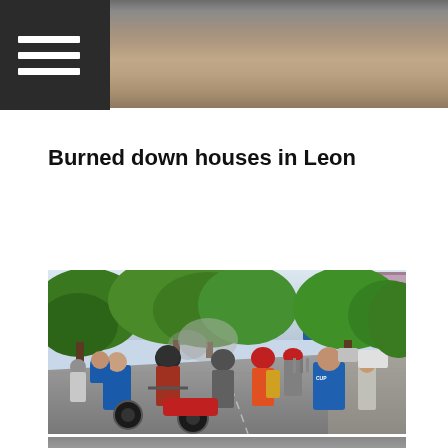[Figure (photo): Top banner photo showing a road or ground surface from above, partially obscured by a dark overlay with a hamburger menu icon in the top-left corner]
Burned down houses in Leon
[Figure (photo): Street scene showing a crowd of people, many on motorcycles, gathered on a road lined with green trees. Smoke is visible in the background. People are wearing helmets and casual clothing. A blue sign is visible in the distance.]
[Figure (photo): Partial view of another photo at the bottom of the page]